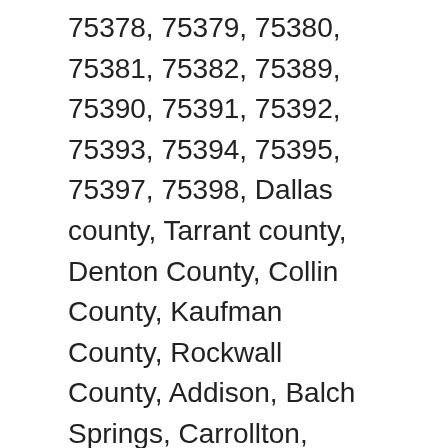75378, 75379, 75380, 75381, 75382, 75389, 75390, 75391, 75392, 75393, 75394, 75395, 75397, 75398, Dallas county, Tarrant county, Denton County, Collin County, Kaufman County, Rockwall County, Addison, Balch Springs, Carrollton, Cedar Hill, Coppell, Dallas, Desoto, Duncanville, Garland, Grand Prairie, Hutchins, Irving, Lancaster, Mesquite, Richardson, Rowlett, Sachse, Seagoville, Sunnyvale, Wilmer, Arlington, Keller, Euless, Hurst, North Richland Hills, Colleyville, Bedford, Saginaw, Haltom City, Crowley, Lake Worth, Watauga, Benbrook, Richland Hills, White Settlement, Kennedale, Forest Hill, River Oaks, Everyman, Pantego, Kaufman, Forney, Terrell, Kemp, Crandall, Scurry, Talty, Post Oak Bond City, Oak Ridge, Oak Grove